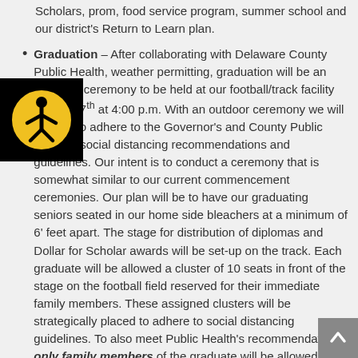Scholars, prom, food service program, summer school and our district's Return to Learn plan.
[Figure (illustration): Accessibility icon: yellow person in circle on black square background]
Graduation – After collaborating with Delaware County Public Health, weather permitting, graduation will be an outdoors ceremony to be held at our football/track facility on June 7th at 4:00 p.m. With an outdoor ceremony we will be able to adhere to the Governor's and County Public Health's social distancing recommendations and guidelines. Our intent is to conduct a ceremony that is somewhat similar to our current commencement ceremonies. Our plan will be to have our graduating seniors seated in our home side bleachers at a minimum of 6' feet apart. The stage for distribution of diplomas and Dollar for Scholar awards will be set-up on the track. Each graduate will be allowed a cluster of 10 seats in front of the stage on the football field reserved for their immediate family members. These assigned clusters will be strategically placed to adhere to social distancing guidelines. To also meet Public Health's recommendations, only family members of the graduate will be allowed to attend the ceremony. We realize that it is difficult to not invite our general public and other students to our ceremony, but in order to have a traditional